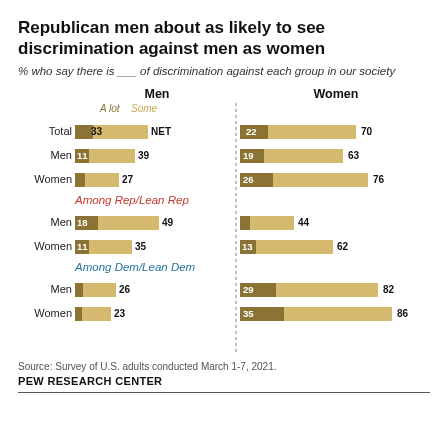Republican men about as likely to see discrimination against men as women
% who say there is ___ of discrimination against each group in our society
[Figure (grouped-bar-chart): Republican men about as likely to see discrimination against men as women]
Source: Survey of U.S. adults conducted March 1-7, 2021.
PEW RESEARCH CENTER